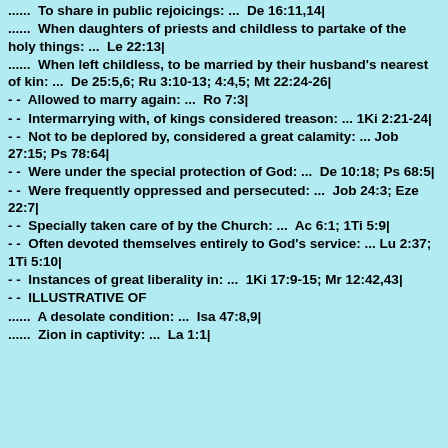......  To share in public rejoicings: ...  De 16:11,14|
......  When daughters of priests and childless to partake of the   holy things: ...  Le 22:13|
......  When left childless, to be married by their husband's nearest of kin: ...  De 25:5,6; Ru 3:10-13; 4:4,5; Mt 22:24-26|
- -  Allowed to marry again: ...  Ro 7:3|
- -  Intermarrying with, of kings considered treason: ...  1Ki 2:21-24|
- -  Not to be deplored by, considered a great calamity: ...  Job 27:15; Ps 78:64|
- -  Were under the special protection of God: ...  De 10:18; Ps 68:5|
- -  Were frequently oppressed and persecuted: ...  Job 24:3; Eze 22:7|
- -  Specially taken care of by the Church: ...  Ac 6:1; 1Ti 5:9|
- -  Often devoted themselves entirely to God's service: ...  Lu 2:37; 1Ti 5:10|
- -  Instances of great liberality in: ...  1Ki 17:9-15; Mr 12:42,43|
- -  ILLUSTRATIVE OF
......  A desolate condition: ...  Isa 47:8,9|
......  Zion in captivity: ...  La 1:1|